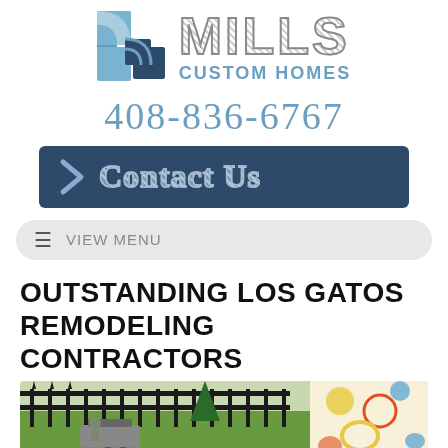[Figure (logo): Mills Custom Homes logo with blue/dark blue square icon and crosshatch-style MILLS text with blue CUSTOM HOMES subtitle]
408-836-6767
[Figure (other): Dark navy Contact Us button with chevron arrow and embossed/crosshatch style text]
[Figure (other): Gray pill-shaped menu bar with hamburger icon and VIEW MENU text]
OUTSTANDING LOS GATOS REMODELING CONTRACTORS
[Figure (photo): Outdoor patio area with black iron fence, green lawn, decorative umbrella or table cover with colorful floral pattern]